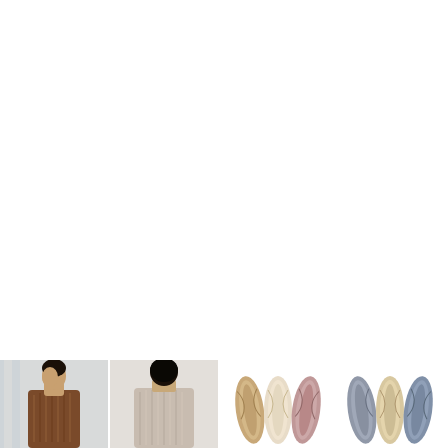[Figure (photo): Bottom strip showing two photos of a person wearing a knitted sweater (front and back views) and four groups of yarn skeins in various muted colors (beige, pink, mauve, gray, blue, rose, sage, purple tones)]